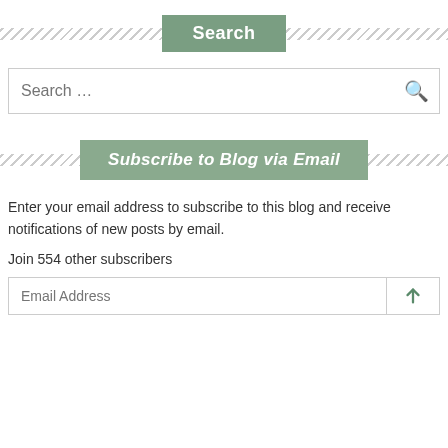Search
Search ...
Subscribe to Blog via Email
Enter your email address to subscribe to this blog and receive notifications of new posts by email.
Join 554 other subscribers
Email Address